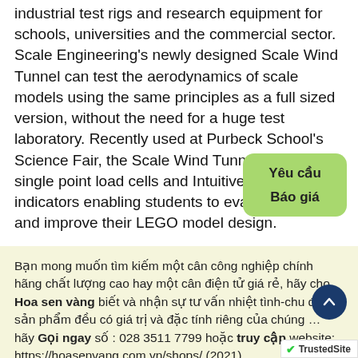industrial test rigs and research equipment for schools, universities and the commercial sector. Scale Engineering's newly designed Scale Wind Tunnel can test the aerodynamics of scale models using the same principles as a full sized version, without the need for a huge test laboratory. Recently used at Purbeck School's Science Fair, the Scale Wind Tunnel uses two single point load cells and Intuitive2-L digital indicators enabling students to evaluate, amend and improve their LEGO model design.
[Figure (other): Green rounded button with Vietnamese text 'Yêu cầu Báo giá' (Request a Quote)]
Bạn mong muốn tìm kiếm một cân công nghiệp chính hãng chất lượng cao hay một cân điện tử giá rẻ, hãy cho Hoa sen vàng biết và nhận sự tư vấn nhiệt tình-chu đáo, sản phẩm đều có giá trị và đặc tính riêng của chúng … hãy Gọi ngay số : 028 3511 7799 hoặc truy cập website: https://hoasenvang.com.vn/shops/ (2021)
[Figure (other): Dark blue circular scroll-to-top button with upward chevron arrow]
[Figure (logo): TrustedSite badge with green checkmark]